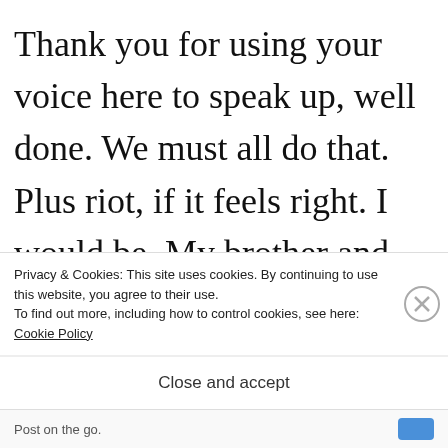Thank you for using your voice here to speak up, well done. We must all do that. Plus riot, if it feels right. I would be. My brother and his fiancee are, because they're so tired of no change happening! Bless you for taking
Privacy & Cookies: This site uses cookies. By continuing to use this website, you agree to their use.
To find out more, including how to control cookies, see here: Cookie Policy
Close and accept
Post on the go.